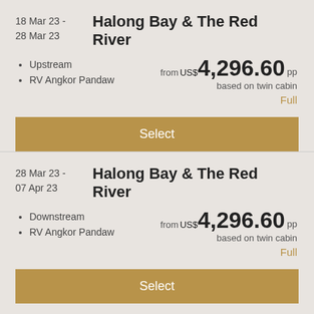18 Mar 23 - 28 Mar 23
Halong Bay & The Red River
Upstream
RV Angkor Pandaw
from US$4,296.60 pp based on twin cabin
Full
Select
28 Mar 23 - 07 Apr 23
Halong Bay & The Red River
Downstream
RV Angkor Pandaw
from US$4,296.60 pp based on twin cabin
Full
Select